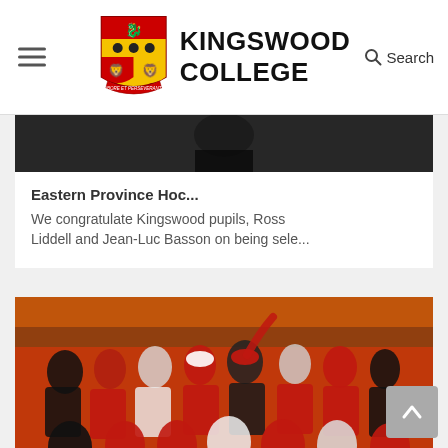Kingswood College
[Figure (photo): Partial dark photo visible at top of card 1 (person in dark clothing)]
Eastern Province Hoc...
We congratulate Kingswood pupils, Ross Liddell and Jean-Luc Basson on being sele...
[Figure (photo): Group of students and youth in red clothing celebrating, appearing to be at a swimming or sports event]